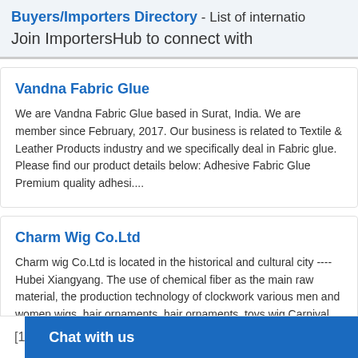Buyers/Importers Directory - List of internatio... Join ImportersHub to connect with...
Vandna Fabric Glue
We are Vandna Fabric Glue based in Surat, India. We are member since February, 2017. Our business is related to Textile & Leather Products industry and we specifically deal in Fabric glue. Please find our product details below: Adhesive Fabric Glue Premium quality adhesi....
Charm Wig Co.Ltd
Charm wig Co.Ltd is located in the historical and cultural city ---- Hubei Xiangyang. The use of chemical fiber as the main raw material, the production technology of clockwork various men and women wigs, hair ornaments, hair ornaments, toys wig Carnival hundreds of products. Unique product desi....
[1 Chat with us